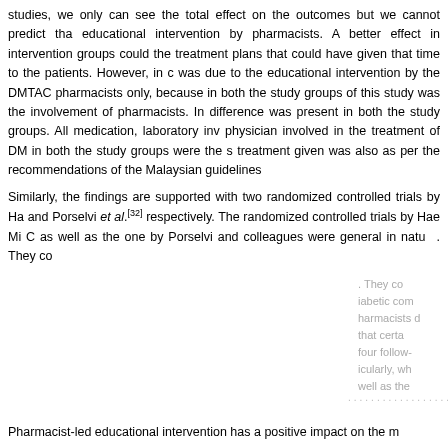studies, we only can see the total effect on the outcomes but we cannot predict tha educational intervention by pharmacists. A better effect in intervention groups could the treatment plans that could have given that time to the patients. However, in c was due to the educational intervention by the DMTAC pharmacists only, because in both the study groups of this study was the involvement of pharmacists. In difference was present in both the study groups. All medication, laboratory inv physician involved in the treatment of DM in both the study groups were the s treatment given was also as per the recommendations of the Malaysian guidelines
Similarly, the findings are supported with two randomized controlled trials by Ha and Porselvi et al.[32] respectively. The randomized controlled trials by Hae Mi C as well as the one by Porselvi and colleagues were general in nature. They co iabetic com harmacists d that certa four follow- icularly, wh well as the
Pharmacist-led educational intervention has a positive impact on the m
[Figure (screenshot): Cookie consent overlay popup with grey background. Text reads: 'This website uses cookies. By continuing to use this website you are giving consent to cookies being used. For information on cookies and how you can disable them visit our Privacy and Cookie Policy.' followed by a red 'AGREE & PROCEED' button.]